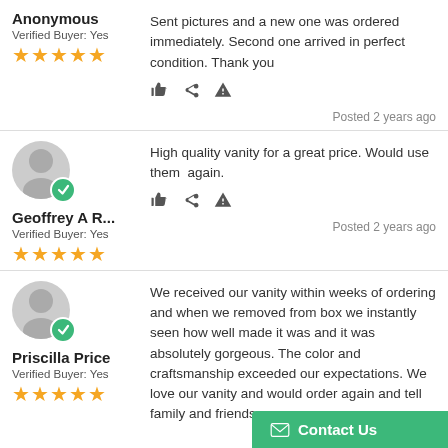Anonymous
Verified Buyer: Yes
★★★★★
Sent pictures and a new one was ordered immediately. Second one arrived in perfect condition. Thank you
Posted 2 years ago
Geoffrey A R...
Verified Buyer: Yes
★★★★★
High quality vanity for a great price. Would use them again.
Posted 2 years ago
Priscilla Price
Verified Buyer: Yes
★★★★★
We received our vanity within weeks of ordering and when we removed from box we instantly seen how well made it was and it was absolutely gorgeous. The color and craftsmanship exceeded our expectations. We love our vanity and would order again and tell family and friends.